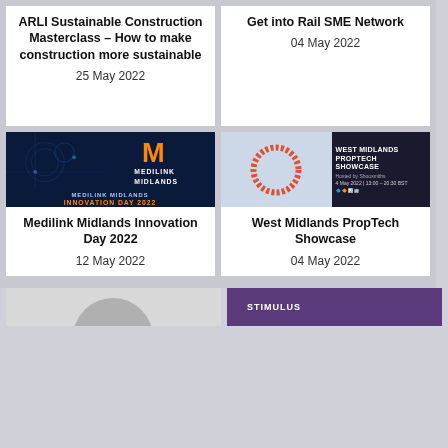ARLI Sustainable Construction Masterclass – How to make construction more sustainable
25 May 2022
Get into Rail SME Network
04 May 2022
[Figure (photo): Medilink Midlands Innovation Day 2022 banner with dark blue background, orange M logo, and orange/blue text]
Medilink Midlands Innovation Day 2022
12 May 2022
[Figure (photo): West Midlands PropTech Showcase banner with orange ring graphic on light blue background and dark navy panel with white text]
West Midlands PropTech Showcase
04 May 2022
[Figure (photo): Partial image at bottom left, appears to show a person]
[Figure (photo): Partial image at bottom right with purple/dark background]